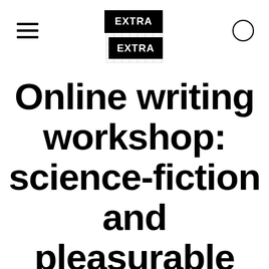EXTRA EXTRA
Online writing workshop: science-fiction and pleasurable